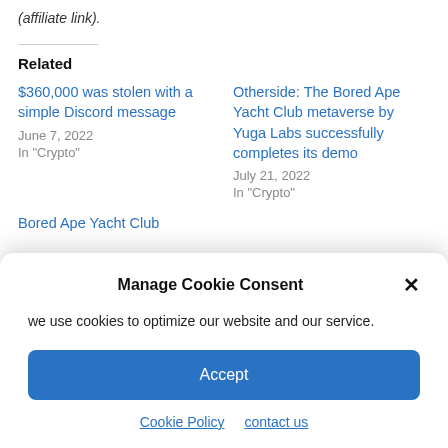(affiliate link).
Related
$360,000 was stolen with a simple Discord message
June 7, 2022
In "Crypto"
Otherside: The Bored Ape Yacht Club metaverse by Yuga Labs successfully completes its demo
July 21, 2022
In "Crypto"
Bored Ape Yacht Club
Manage Cookie Consent
we use cookies to optimize our website and our service.
Accept
Cookie Policy   contact us